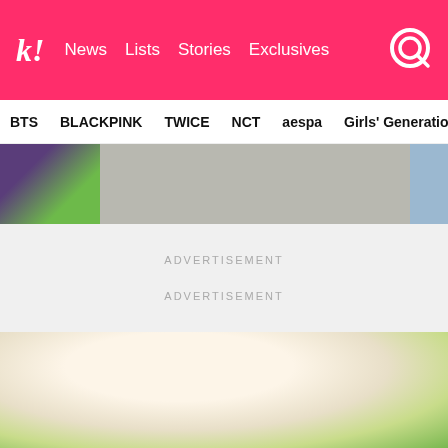k! News  Lists  Stories  Exclusives
BTS  BLACKPINK  TWICE  NCT  aespa  Girls' Generation
[Figure (photo): Partial image strip showing outdoor scene with purple and green colors on left, grey/beige center, blue on right edge]
ADVERTISEMENT
ADVERTISEMENT
[Figure (photo): Bright outdoor photo with trees/greenery on right side and bright sky/sunlight on left, warm light tones]